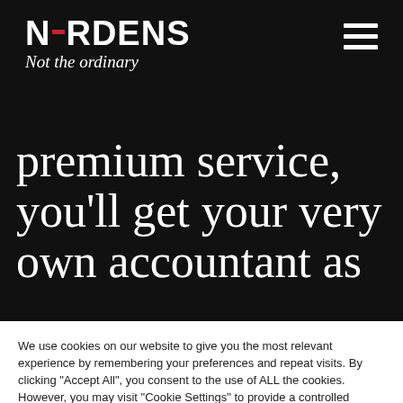[Figure (logo): Nordens logo with red dash between N and ORDENS, tagline 'Not the ordinary' in italic white serif]
premium service, you'll get your very own accountant as
We use cookies on our website to give you the most relevant experience by remembering your preferences and repeat visits. By clicking "Accept All", you consent to the use of ALL the cookies. However, you may visit "Cookie Settings" to provide a controlled consent.
Cookie Settings | Accept All